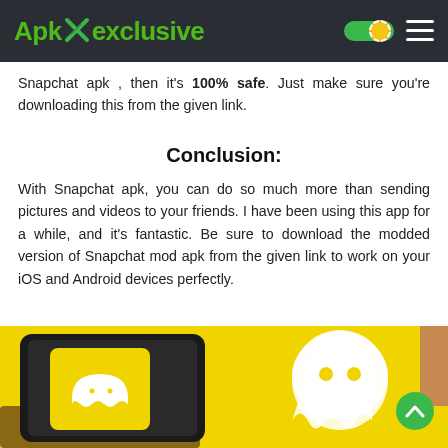ApkXexclusive
Snapchat apk , then it's 100% safe. Just make sure you're downloading this from the given link.
Conclusion:
With Snapchat apk, you can do so much more than sending pictures and videos to your friends. I have been using this app for a while, and it's fantastic. Be sure to download the modded version of Snapchat mod apk from the given link to work on your iOS and Android devices perfectly.
[Figure (photo): A hand holding a tablet displaying the Snapchat app with its ghost logo, against a yellow background with a large white Snapchat ghost logo]